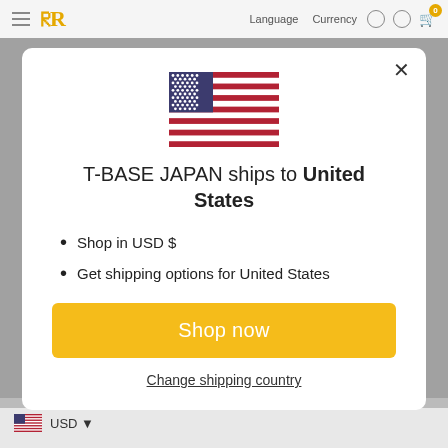T-BASE JAPAN | Language | Currency
[Figure (illustration): US flag SVG illustration centered in modal]
T-BASE JAPAN ships to United States
Shop in USD $
Get shipping options for United States
Shop now
Change shipping country